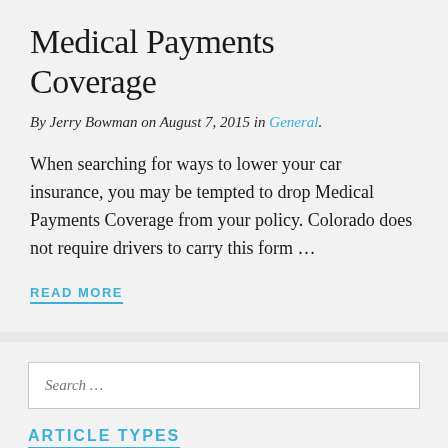Medical Payments Coverage
By Jerry Bowman on August 7, 2015 in General.
When searching for ways to lower your car insurance, you may be tempted to drop Medical Payments Coverage from your policy. Colorado does not require drivers to carry this form …
READ MORE
Search …
ARTICLE TYPES